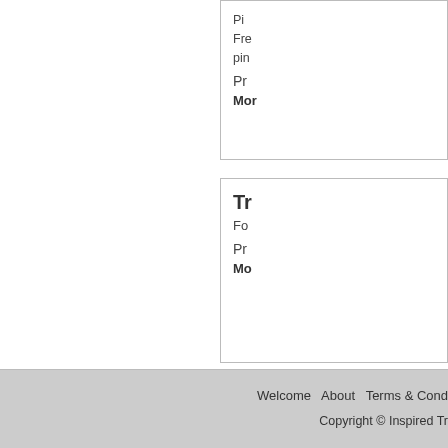Pin Free Frequently pin
Pr
More
Tr
Fo
Pr
Mo
Page: 1
Welcome   About   Terms & Cond   Copyright © Inspired Tr